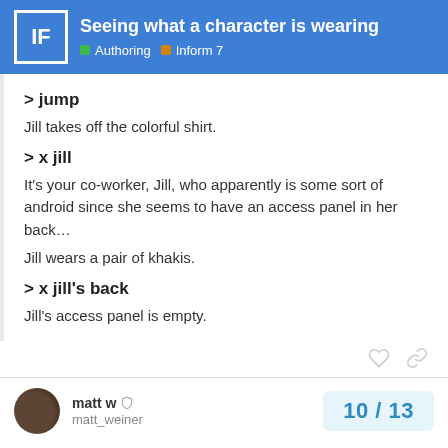Seeing what a character is wearing | Authoring | Inform 7
> jump
Jill takes off the colorful shirt.
> x jill
It's your co-worker, Jill, who apparently is some sort of android since she seems to have an access panel in her back…
Jill wears a pair of khakis.
> x jill's back
Jill's access panel is empty.
matt w | matt_weiner | 10 / 13